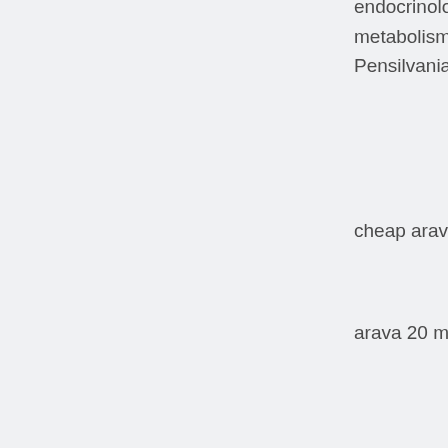endocrinologa, diabetes y metabolismo de la Universidad de Pensilvania.
cheap arava purchase pharm
arava 20 mg oral tablet
GomezMancilla wrote that this and previous work on mGlu inhibitors support further clinical trials.
You may want to refrain from telling people you are taking pain medications as home invasions have been reported by individuals with prescription narcotics in the house.